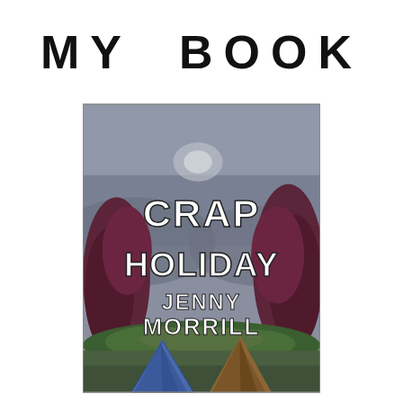MY BOOK
[Figure (illustration): Book cover illustration for 'Crap Holiday' by Jenny Morrill. The cover shows a moody, overcast scene with dark purple-red trees, green shrubs, and two tents (blue and orange/brown) in the foreground. The title 'CRAP HOLIDAY' is displayed in large white hand-drawn letters, and the author name 'JENNY MORRILL' appears below in similar style lettering.]